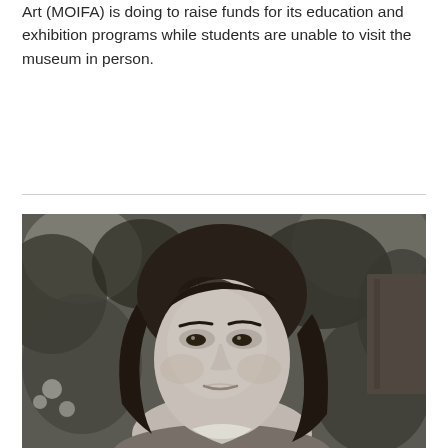Art (MOIFA) is doing to raise funds for its education and exhibition programs while students are unable to visit the museum in person.
[Figure (photo): Black and white portrait photograph of a woman with straight dark hair, looking at the camera, with leafy garden foliage in the background.]